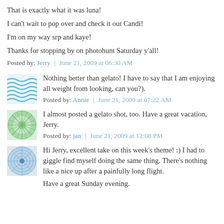That is exactly what it was luna!
I can't wait to pop over and check it out Candi!
I'm on my way srp and kaye!
Thanks for stopping by on photohunt Saturday y'all!
Posted by: Jerry | June 21, 2009 at 06:30 AM
Nothing better than gelato! I have to say that I am enjoying all weight from looking, can you?).
Posted by: Annie | June 21, 2009 at 07:22 AM
I almost posted a gelato shot, too. Have a great vacation, Jerry.
Posted by: jan | June 21, 2009 at 12:08 PM
Hi Jerry, excellent take on this week's theme! :) I had to giggle find myself doing the same thing. There's nothing like a nice up after a painfully long flight.
Have a great Sunday evening.